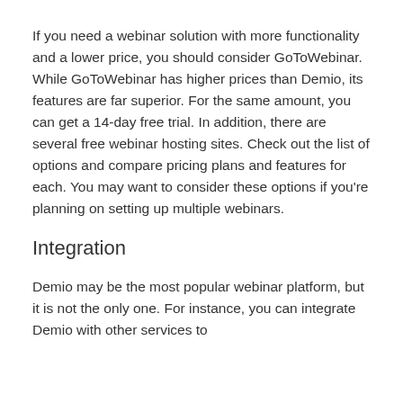If you need a webinar solution with more functionality and a lower price, you should consider GoToWebinar. While GoToWebinar has higher prices than Demio, its features are far superior. For the same amount, you can get a 14-day free trial. In addition, there are several free webinar hosting sites. Check out the list of options and compare pricing plans and features for each. You may want to consider these options if you're planning on setting up multiple webinars.
Integration
Demio may be the most popular webinar platform, but it is not the only one. For instance, you can integrate Demio with other services to